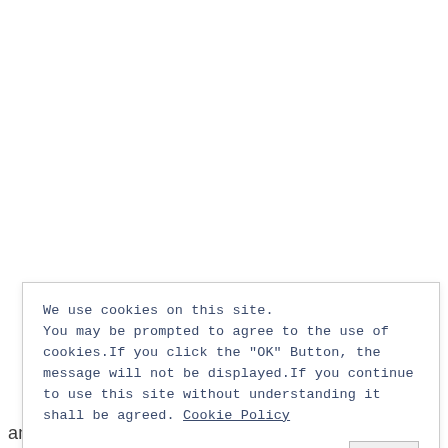and recommended sakura festivals.
We use cookies on this site. You may be prompted to agree to the use of cookies.If you click the "OK" Button, the message will not be displayed.If you continue to use this site without understanding it shall be agreed. Cookie Policy